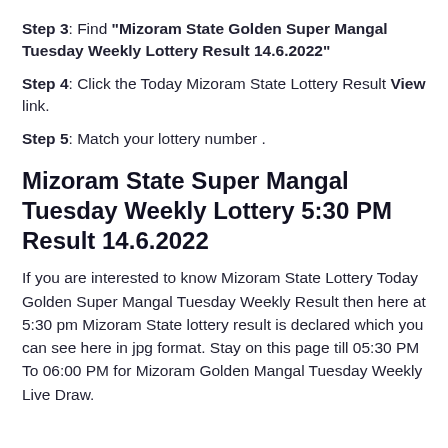Step 3: Find "Mizoram State Golden Super Mangal Tuesday Weekly Lottery Result 14.6.2022"
Step 4: Click the Today Mizoram State Lottery Result View link.
Step 5: Match your lottery number .
Mizoram State Super Mangal Tuesday Weekly Lottery 5:30 PM Result 14.6.2022
If you are interested to know Mizoram State Lottery Today Golden Super Mangal Tuesday Weekly Result then here at 5:30 pm Mizoram State lottery result is declared which you can see here in jpg format. Stay on this page till 05:30 PM To 06:00 PM for Mizoram Golden Mangal Tuesday Weekly Live Draw.